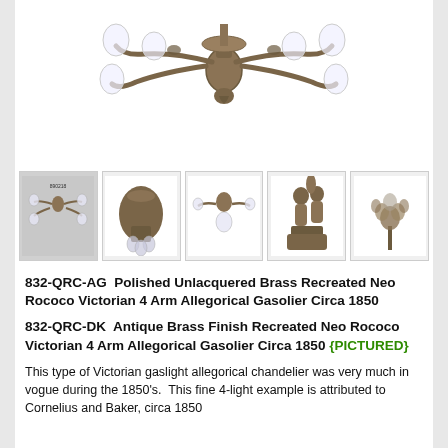[Figure (photo): Large ornate Victorian brass chandelier with 4 arms and frosted glass globes, antique brass finish, Neo Rococo style]
[Figure (photo): Row of 5 thumbnail images showing various views of the chandelier and its components: full chandelier view, central body detail, 3-arm variant, allegorical figure base with cherubs, and floral finial detail]
832-QRC-AG  Polished Unlacquered Brass Recreated Neo Rococo Victorian 4 Arm Allegorical Gasolier Circa 1850
832-QRC-DK  Antique Brass Finish Recreated Neo Rococo Victorian 4 Arm Allegorical Gasolier Circa 1850 {PICTURED}
This type of Victorian gaslight allegorical chandelier was very much in vogue during the 1850's.  This fine 4-light example is attributed to Cornelius and Baker, circa 1850